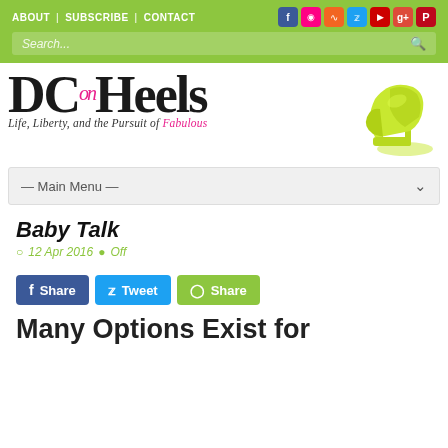ABOUT | SUBSCRIBE | CONTACT
[Figure (logo): DC on Heels blog logo with neon green high heel shoe. Tagline: Life, Liberty, and the Pursuit of Fabulous]
— Main Menu —
Baby Talk
12 Apr 2016  Off
[Figure (infographic): Social share buttons: Share (Facebook), Tweet (Twitter), Share (green)]
Many Options Exist for